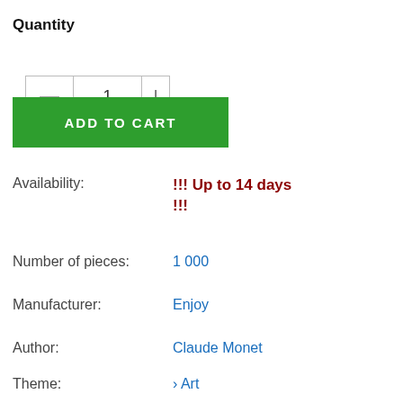Quantity
— 1 |
ADD TO CART
Availability: !!! Up to 14 days !!!
Number of pieces: 1 000
Manufacturer: Enjoy
Author: Claude Monet
Theme: > Art
Code: 5949194011490